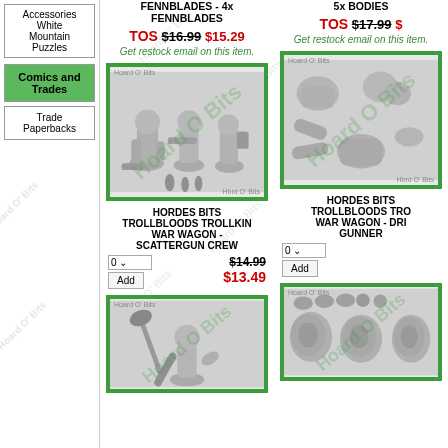Accessories White Mountain Puzzles
Comics and Trades
Trade Paperbacks
FENNBLADES - 4x FENNBLADES
TOS $16.99 $15.29
Get restock email on this item.
5x BODIES
TOS $17.99
Get restock email on this item.
[Figure (photo): Hoard O Bits product image: Hordes Bits Trollbloods Trollkin War Wagon - Scattergun Crew miniature figures]
HORDES BITS TROLLBLOODS TROLLKIN WAR WAGON - SCATTERGUN CREW
$14.99 $13.49
[Figure (photo): Hoard O Bits product image: Hordes Bits Trollbloods Trollkin War Wagon - Driver/Gunner miniature figures]
HORDES BITS TROLLBLOODS TROLLKIN WAR WAGON - DRIVER GUNNER
[Figure (photo): Hoard O Bits product image: bottom left product miniature figure with axe]
[Figure (photo): Hoard O Bits product image: bottom right product shields/armor bits]